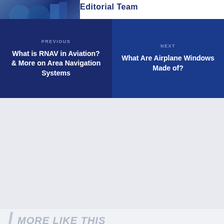Editorial Team
PREVIOUS
What is RNAV in Aviation? & More on Area Navigation Systems
NEXT
What Are Airplane Windows Made of?
MORE LIKE THIS